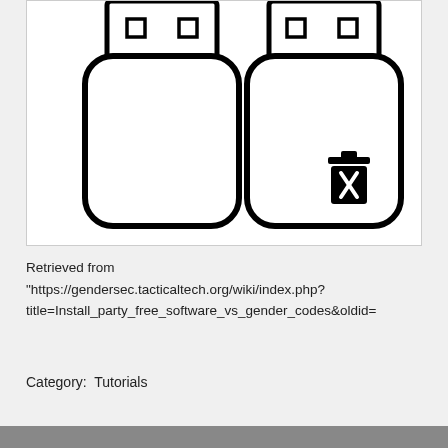[Figure (illustration): Two USB flash drives side by side on white background. The left USB drive is plain. The right USB drive has a trash/delete icon (trash can with X) overlaid on its lower right corner.]
Retrieved from
"https://gendersec.tacticaltech.org/wiki/index.php?title=Install_party_free_software_vs_gender_codes&oldid=
Category:  Tutorials